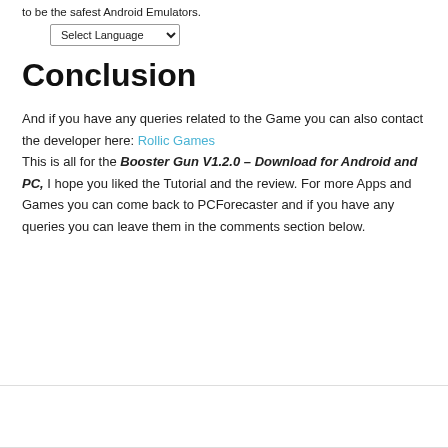to be the safest Android Emulators.
Select Language
Conclusion
And if you have any queries related to the Game you can also contact the developer here: Rollic Games
This is all for the Booster Gun V1.2.0 – Download for Android and PC, I hope you liked the Tutorial and the review. For more Apps and Games you can come back to PCForecaster and if you have any queries you can leave them in the comments section below.